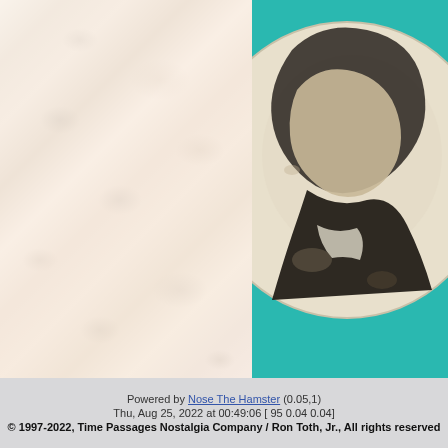[Figure (photo): Left half: faded/watermarked collage of vintage collectible pins, buttons, labels and memorabilia items. Right half: close-up photo of a vintage celluloid pinback button on a teal background, showing a profile portrait of a man with text 'OARSMAN' (partial: 'H' above 'OARSMAN') arched at the top.]
Powered by Nose The Hamster (0.05,1)
Thu, Aug 25, 2022 at 00:49:06 [ 95 0.04 0.04]
© 1997-2022, Time Passages Nostalgia Company / Ron Toth, Jr., All rights reserved